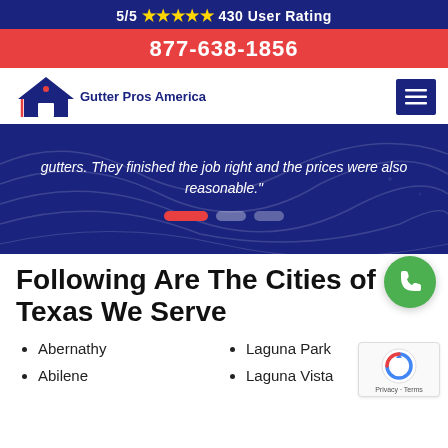5/5 ★★★★★ 430 User Rating
877-638-1856
[Figure (logo): Gutter Pros America logo with house roof icon and company name]
gutters. They finished the job right and the prices were also reasonable."
Following Are The Cities of Texas We Serve
Abernathy
Abilene
Laguna Park
Laguna Vista